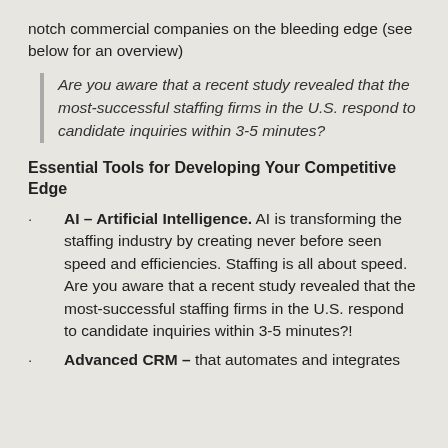notch commercial companies on the bleeding edge (see below for an overview)
Are you aware that a recent study revealed that the most-successful staffing firms in the U.S. respond to candidate inquiries within 3-5 minutes?
Essential Tools for Developing Your Competitive Edge
· AI – Artificial Intelligence. AI is transforming the staffing industry by creating never before seen speed and efficiencies. Staffing is all about speed. Are you aware that a recent study revealed that the most-successful staffing firms in the U.S. respond to candidate inquiries within 3-5 minutes?!
· Advanced CRM – that automates and integrates